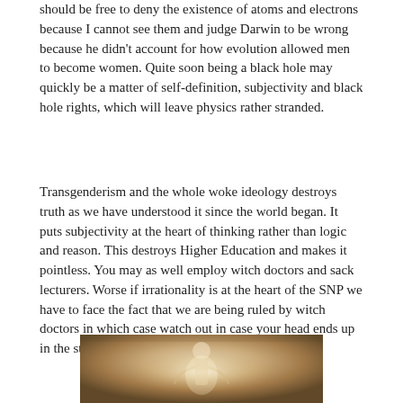should be free to deny the existence of atoms and electrons because I cannot see them and judge Darwin to be wrong because he didn't account for how evolution allowed men to become women. Quite soon being a black hole may quickly be a matter of self-definition, subjectivity and black hole rights, which will leave physics rather stranded.
Transgenderism and the whole woke ideology destroys truth as we have understood it since the world began. It puts subjectivity at the heart of thinking rather than logic and reason. This destroys Higher Education and makes it pointless. You may as well employ witch doctors and sack lecturers. Worse if irrationality is at the heart of the SNP we have to face the fact that we are being ruled by witch doctors in which case watch out in case your head ends up in the stew.
[Figure (photo): Partially visible photograph, appears to show a figure or person in warm golden/brown tones, cropped at bottom of page.]